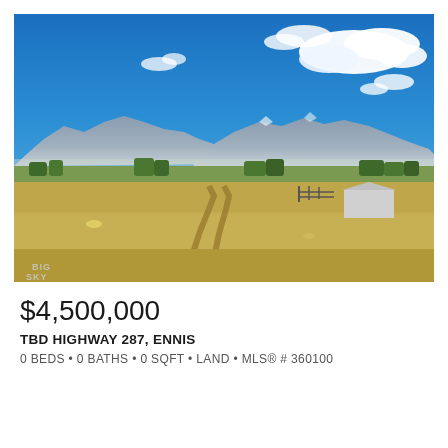[Figure (photo): Aerial/drone photo of a large open grassland property in Montana with dirt track through dry golden fields, trees in the middle distance, mountains in the background, and bright blue sky with white clouds. A barn structure visible on the right. Big Sky MLS watermark in lower left of photo.]
$4,500,000
TBD HIGHWAY 287, ENNIS
0 BEDS • 0 BATHS • 0 SQFT • LAND • MLS® # 360100